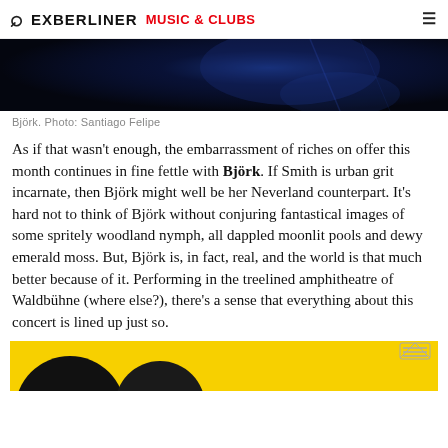EXBERLINER  MUSIC & CLUBS
[Figure (photo): Dark blue-toned concert/performance photograph, mostly dark with blue lighting highlights]
Björk. Photo: Santiago Felipe
As if that wasn't enough, the embarrassment of riches on offer this month continues in fine fettle with Björk. If Smith is urban grit incarnate, then Björk might well be her Neverland counterpart. It's hard not to think of Björk without conjuring fantastical images of some spritely woodland nymph, all dappled moonlit pools and dewy emerald moss. But, Björk is, in fact, real, and the world is that much better because of it. Performing in the treelined amphitheatre of Waldbühne (where else?), there's a sense that everything about this concert is lined up just so.
[Figure (photo): Advertisement strip with yellow background showing partial circular dark shape]